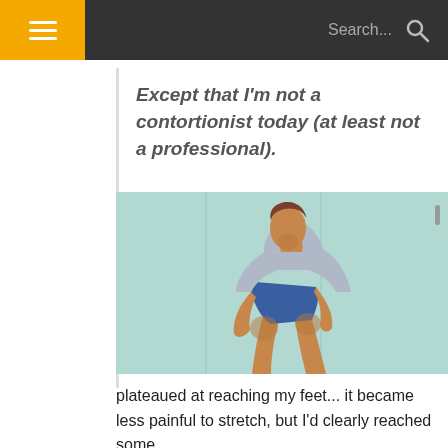☰  Search...
Except that I'm not a contortionist today (at least not a professional).
[Figure (illustration): Illustration of a man bending forward at the waist, touching or reaching toward his feet, wearing a grey shirt and blue shorts. Light teal/mint background.]
plateaued at reaching my feet... it became less painful to stretch, but I'd clearly reached some